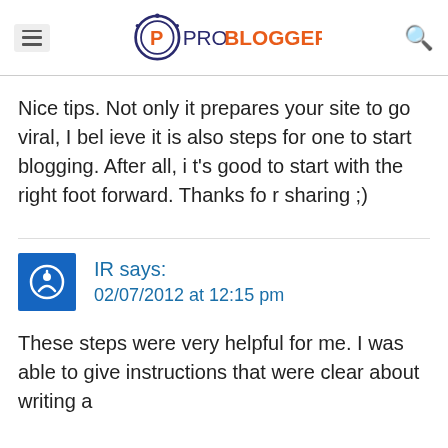ProBlogger
Nice tips. Not only it prepares your site to go viral, I believe it is also steps for one to start blogging. After all, it's good to start with the right foot forward. Thanks for sharing ;)
IR says:
02/07/2012 at 12:15 pm
These steps were very helpful for me. I was able to give instructions that were clear about writing a successful blog.